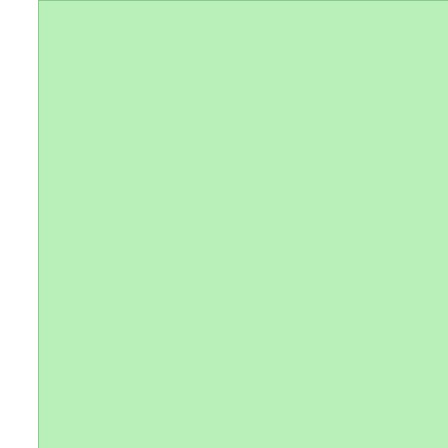[Figure (other): Green-background box representing a wiki page area/image placeholder]
really kno
== Implem
0. Encoura
* ease of
* amazing
0. Start "d
* encoura
* announc
0. Make it
0. encoura
["Category
This shall become the rootlevel page for the ubuntu MOTU tea
The idea is to
separate the MOTU package maintenance work into sub
touch a set of packages in universe and
can be grouped to concentrate the work in a team
be able to better
plan transitions